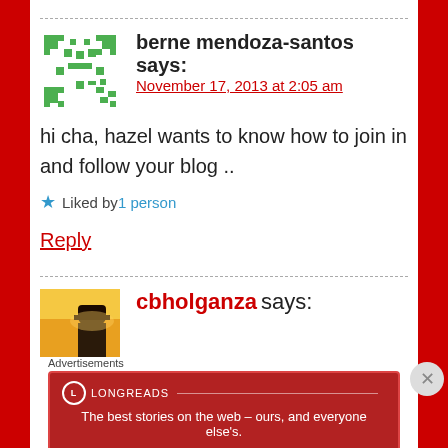berne mendoza-santos says:
November 17, 2013 at 2:05 am
hi cha, hazel wants to know how to join in and follow your blog ..
Liked by 1 person
Reply
cbholganza says:
Advertisements
LONGREADS The best stories on the web – ours, and everyone else's.